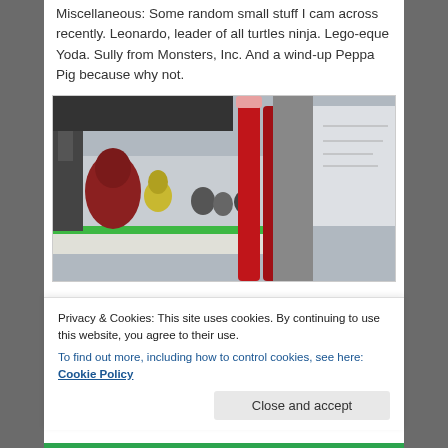Miscellaneous: Some random small stuff I cam across recently. Leonardo, leader of all turtles ninja. Lego-eque Yoda. Sully from Monsters, Inc. And a wind-up Peppa Pig because why not.
[Figure (photo): A shelf with small figurines/toys including what appears to be a Yoda figure and others, with a prominent red object (possibly nunchucks or similar) in the foreground. A whiteboard or paper is visible in the background.]
Privacy & Cookies: This site uses cookies. By continuing to use this website, you agree to their use.
To find out more, including how to control cookies, see here: Cookie Policy
Close and accept